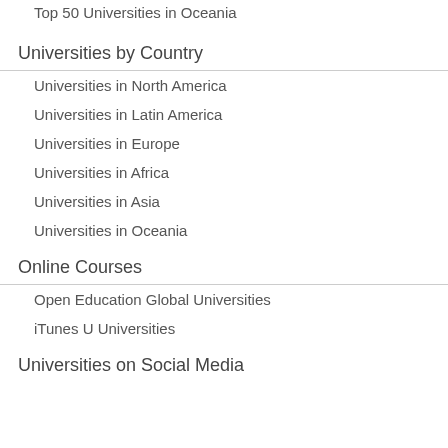Top 50 Universities in Oceania
Universities by Country
Universities in North America
Universities in Latin America
Universities in Europe
Universities in Africa
Universities in Asia
Universities in Oceania
Online Courses
Open Education Global Universities
iTunes U Universities
Universities on Social Media